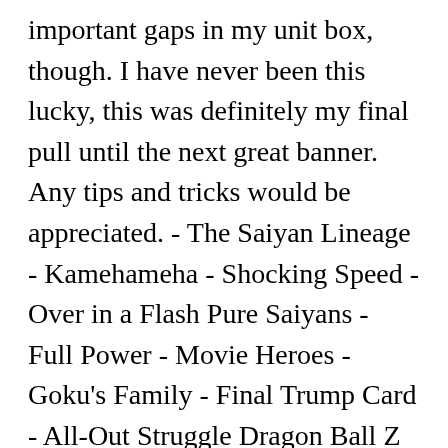important gaps in my unit box, though. I have never been this lucky, this was definitely my final pull until the next great banner. Any tips and tricks would be appreciated. - The Saiyan Lineage - Kamehameha - Shocking Speed - Over in a Flash Pure Saiyans - Full Power - Movie Heroes - Goku's Family - Final Trump Card - All-Out Struggle Dragon Ball Z Dokkan Battle by Living Ichigo. Daima01. Thanks! I also have a Rainbow Teq Kaioken Goku who I could throw in but he's been disappointing in the past. This subreddit is for both the Japanese and Global version. Welcome to Notre Dame College, an educational institute founded and administered by the Congregation of Holy